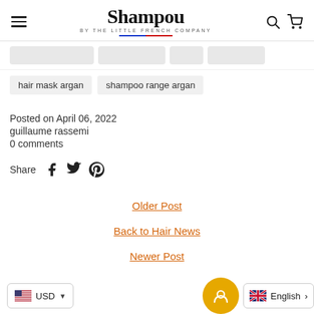Shampou BY THE LITTLE FRENCH COMPANY
hair mask argan
shampoo range argan
Posted on April 06, 2022
guillaume rassemi
0 comments
Share
Older Post
Back to Hair News
Newer Post
USD  English